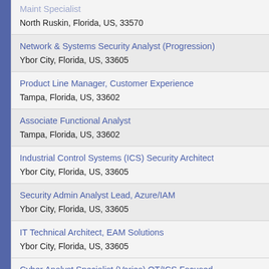Maint Specialist
North Ruskin, Florida, US, 33570
Network & Systems Security Analyst (Progression)
Ybor City, Florida, US, 33605
Product Line Manager, Customer Experience
Tampa, Florida, US, 33602
Associate Functional Analyst
Tampa, Florida, US, 33602
Industrial Control Systems (ICS) Security Architect
Ybor City, Florida, US, 33605
Security Admin Analyst Lead, Azure/IAM
Ybor City, Florida, US, 33605
IT Technical Architect, EAM Solutions
Ybor City, Florida, US, 33605
Cyber Analyst Specialist (Varies) OT/ICS Focused
Ybor City, Florida, US, 33605